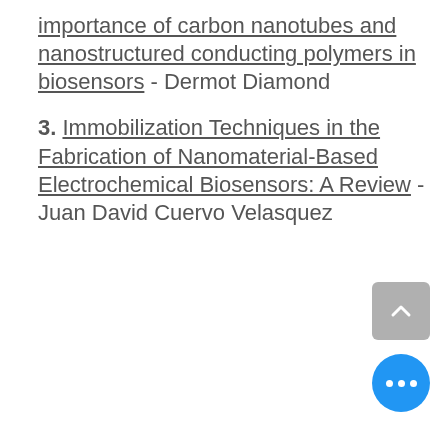importance of carbon nanotubes and nanostructured conducting polymers in biosensors - Dermot Diamond
3. Immobilization Techniques in the Fabrication of Nanomaterial-Based Electrochemical Biosensors: A Review - Juan David Cuervo Velasquez